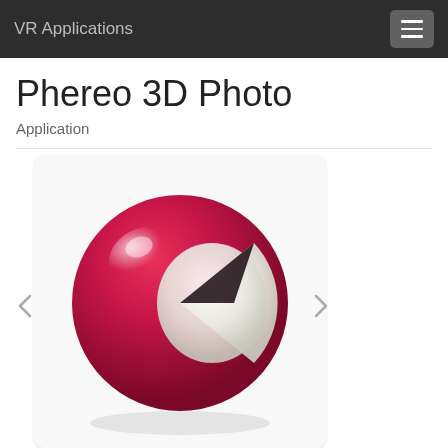VR Applications
Phereo 3D Photo
Application
[Figure (photo): A glossy pink/red 3D ball with a white pac-man-like cutout shape on its surface, rendered on a white background. This appears to be the logo or icon for the Phereo 3D Photo application.]